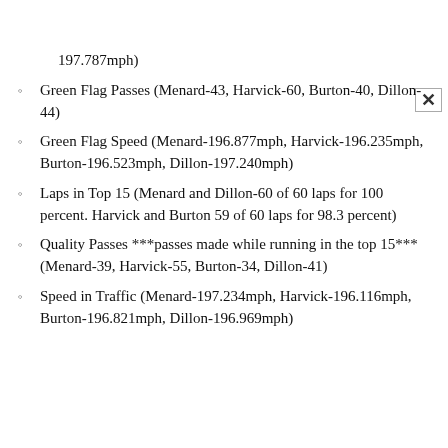197.787mph)
Green Flag Passes (Menard-43, Harvick-60, Burton-40, Dillon-44)
Green Flag Speed (Menard-196.877mph, Harvick-196.235mph, Burton-196.523mph, Dillon-197.240mph)
Laps in Top 15 (Menard and Dillon-60 of 60 laps for 100 percent. Harvick and Burton 59 of 60 laps for 98.3 percent)
Quality Passes ***passes made while running in the top 15*** (Menard-39, Harvick-55, Burton-34, Dillon-41)
Speed in Traffic (Menard-197.234mph, Harvick-196.116mph, Burton-196.821mph, Dillon-196.969mph)